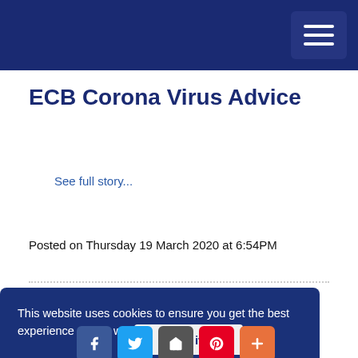ECB - Header navigation bar
ECB Corona Virus Advice
See full story...
Posted on Thursday 19 March 2020 at 6:54PM
Six Nations Finale and Football Social
This website uses cookies to ensure you get the best experience on our website. Learn more
Got it!